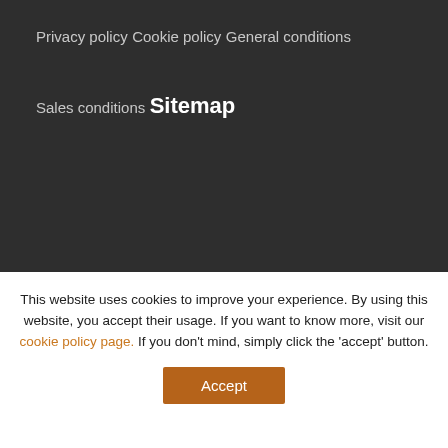Privacy policy
Cookie policy
General conditions
Sales conditions
Sitemap
This website uses cookies to improve your experience. By using this website, you accept their usage. If you want to know more, visit our cookie policy page. If you don't mind, simply click the 'accept' button.